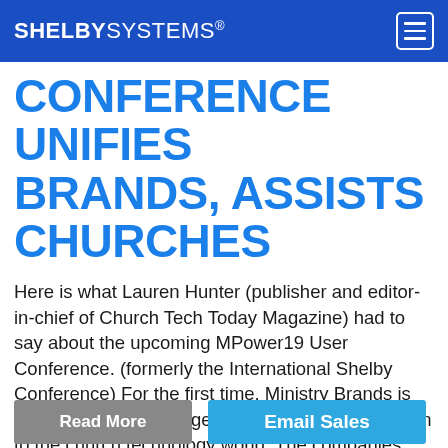SHELBYSYSTEMS®
CONFERENCE UNIFIES BRANDS, ASSISTS CHURCHES
Here is what Lauren Hunter (publisher and editor-in-chief of Church Tech Today Magazine) had to say about the upcoming MPower19 User Conference. (formerly the International Shelby Conference) For the first time, Ministry Brands is holding one of the biggest user conferences known to the church technology world. The companies major church management software and giving [...]
Read More
Email Sales